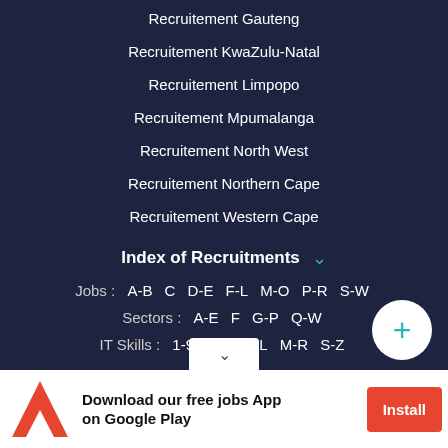Recruitement Gauteng
Recruitement KwaZulu-Natal
Recruitement Limpopo
Recruitement Mpumalanga
Recruitement North West
Recruitement Northern Cape
Recruitement Western Cape
Index of Recruitments
Jobs : A-B C D-E F-L M-O P-R S-W
Sectors : A-E F G-P Q-W
IT Skills : 1-9 A-D E-L M-R S-Z
Engineers
Active Profiles
Download our free jobs App on Google Play
Install